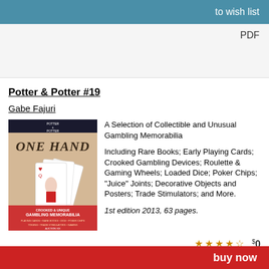to wish list
PDF
Potter & Potter #19
Gabe Fajuri
[Figure (photo): Book cover of Potter & Potter Gambling Memorabilia auction catalog showing a hand holding playing cards with text 'One Hand' visible]
A Selection of Collectible and Unusual Gambling Memorabilia
Including Rare Books; Early Playing Cards; Crooked Gambling Devices; Roulette & Gaming Wheels; Loaded Dice; Poker Chips; "Juice" Joints; Decorative Objects and Posters; Trade Stimulators; and More.
1st edition 2013, 63 pages.
$0
buy now